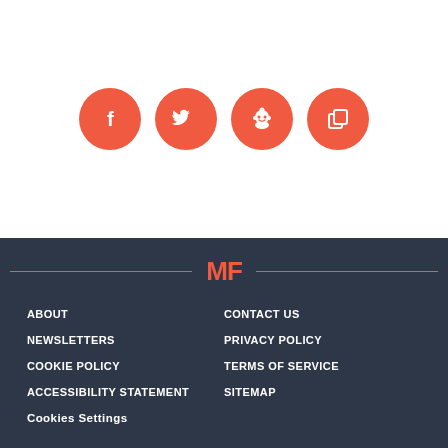[Figure (illustration): Four coral/red circular social media icon buttons: Facebook (f), Twitter (bird), Reddit (alien mascot), and a copy/share icon]
[Figure (logo): MF logo in coral/orange-red on dark navy background, flanked by horizontal lines]
ABOUT
CONTACT US
NEWSLETTERS
PRIVACY POLICY
COOKIE POLICY
TERMS OF SERVICE
ACCESSIBILITY STATEMENT
SITEMAP
Cookies Settings